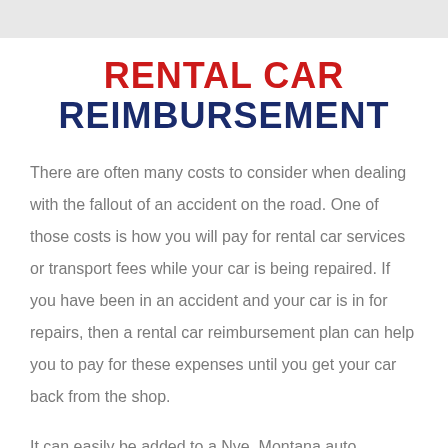RENTAL CAR REIMBURSEMENT
There are often many costs to consider when dealing with the fallout of an accident on the road. One of those costs is how you will pay for rental car services or transport fees while your car is being repaired. If you have been in an accident and your car is in for repairs, then a rental car reimbursement plan can help you to pay for these expenses until you get your car back from the shop.
It can easily be added to a Nye, Montana auto